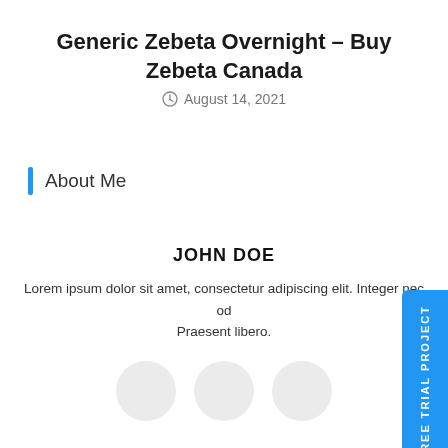Generic Zebeta Overnight – Buy Zebeta Canada
August 14, 2021
About Me
JOHN DOE
Lorem ipsum dolor sit amet, consectetur adipiscing elit. Integer nec od Praesent libero.
Newsletter